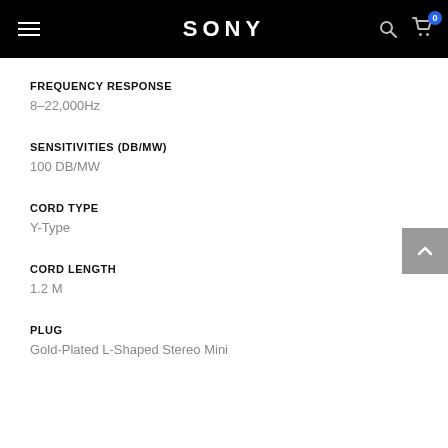SONY
FREQUENCY RESPONSE
8–22,000Hz
SENSITIVITIES (DB/MW)
100 DB/MW
CORD TYPE
Y-Type
CORD LENGTH
1.2 M
PLUG
Gold-Plated L-Shaped Stereo Mini